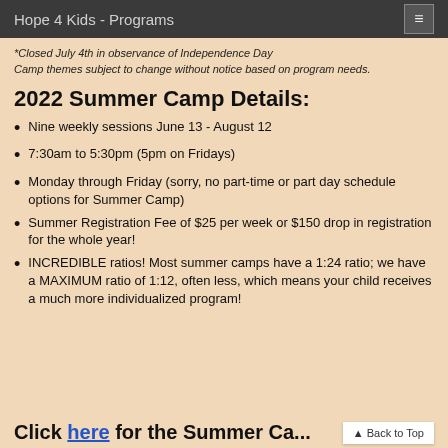Hope 4 Kids - Programs
*Closed July 4th in observance of Independence Day
Camp themes subject to change without notice based on program needs.
2022 Summer Camp Details:
Nine weekly sessions June 13 - August 12
7:30am to 5:30pm (5pm on Fridays)
Monday through Friday (sorry, no part-time or part day schedule options for Summer Camp)
Summer Registration Fee of $25 per week or $150 drop in registration for the whole year!
INCREDIBLE ratios! Most summer camps have a 1:24 ratio; we have a MAXIMUM ratio of 1:12, often less, which means your child receives a much more individualized program!
Click here for the Summer Ca...